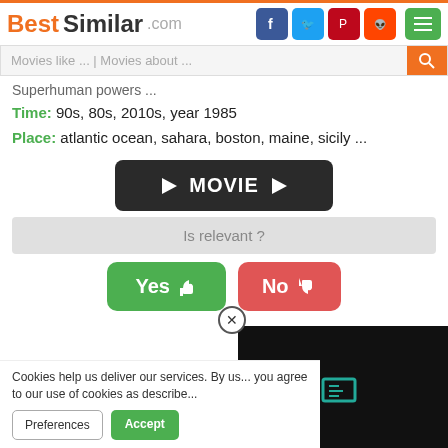BestSimilar.com
Movies like ... | Movies about ...
Superhuman powers ...
Time: 90s, 80s, 2010s, year 1985
Place: atlantic ocean, sahara, boston, maine, sicily ...
[Figure (other): MOVIE play button (dark rounded rectangle with play arrows and MOVIE text)]
Is relevant ?
[Figure (other): Yes thumbs-up button (green) and No thumbs-down button (red)]
[Figure (other): Dark overlay panel with teal icon]
Cookies help us deliver our services. By us... you agree to our use of cookies as describe...
Preferences  Accept